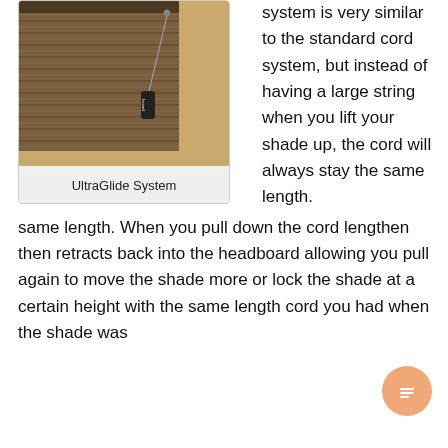[Figure (photo): Photo of a woven wood shade with a cord/bead pull system hanging down, mounted on a headboard]
UltraGlide System
system is very similar to the standard cord system, but instead of having a large string when you lift your shade up, the cord will always stay the same length. When you pull down the cord lengthen then retracts back into the headboard allowing you pull again to move the shade more or lock the shade at a certain height with the same length cord you had when the shade was completely down. This is a great system to keep a